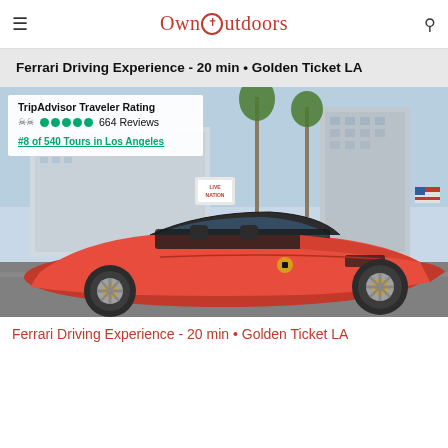Own Outdoors
Ferrari Driving Experience - 20 min • Golden Ticket LA
[Figure (photo): Red Ferrari California convertible parked on a Los Angeles street with buildings and palm trees in background. TripAdvisor overlay shows Traveler Rating, 5 green dots, 664 Reviews, #8 of 540 Tours in Los Angeles.]
Ferrari Driving Experience - 20 min • Golden Ticket LA